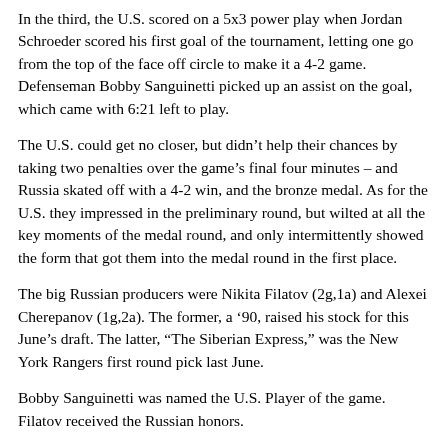In the third, the U.S. scored on a 5x3 power play when Jordan Schroeder scored his first goal of the tournament, letting one go from the top of the face off circle to make it a 4-2 game. Defenseman Bobby Sanguinetti picked up an assist on the goal, which came with 6:21 left to play.
The U.S. could get no closer, but didn't help their chances by taking two penalties over the game's final four minutes – and Russia skated off with a 4-2 win, and the bronze medal. As for the U.S. they impressed in the preliminary round, but wilted at all the key moments of the medal round, and only intermittently showed the form that got them into the medal round in the first place.
The big Russian producers were Nikita Filatov (2g,1a) and Alexei Cherepanov (1g,2a). The former, a '90, raised his stock for this June's draft. The latter, "The Siberian Express," was the New York Rangers first round pick last June.
Bobby Sanguinetti was named the U.S. Player of the game. Filatov received the Russian honors.
The top three U.S. players for the whole tournament -- as chosen by the tournament committee -- were James van Riemsdyk, Chris Summers, and Colin Wilson.